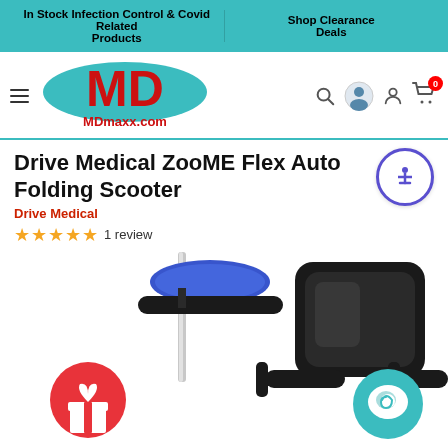In Stock Infection Control & Covid Related Products | Shop Clearance Deals
[Figure (logo): MDmaxx.com logo with red MD letters and teal oval, navigation bar with hamburger menu, search, user, account, and cart icons]
Drive Medical ZooME Flex Auto Folding Scooter
Drive Medical
★★★★★ 1 review
[Figure (photo): Drive Medical ZooME Flex Auto Folding Scooter product photo showing the blue tiller/handlebar and black seat with armrests]